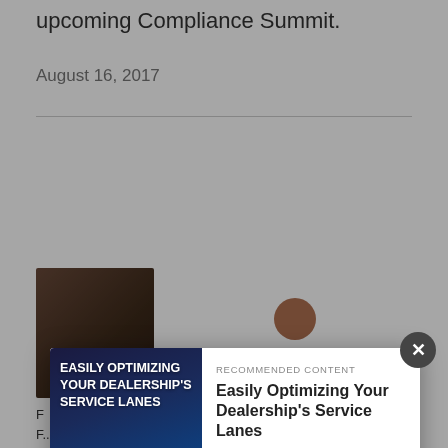upcoming Compliance Summit.
August 16, 2017
[Figure (screenshot): Partially visible article with a person's photo thumbnail and avatar]
[Figure (infographic): Modal popup: Recommended Content ad for 'Easily Optimizing Your Dealership's Service Lanes' by Valvoline with a READ NOW! button]
F...
F...for director for the magazine's 2016 F&I Dealer of the Year...